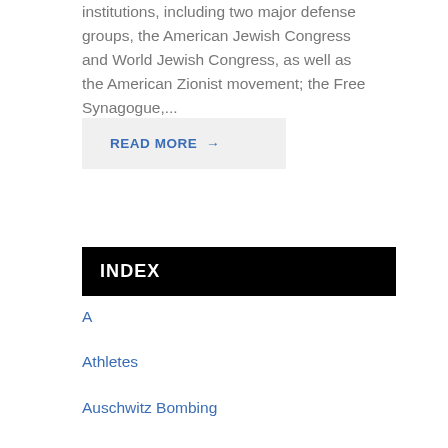institutions, including two major defense groups, the American Jewish Congress and World Jewish Congress, as well as the American Zionist movement; the Free Synagogue,...
READ MORE →
INDEX
A
Athletes
Auschwitz Bombing
B